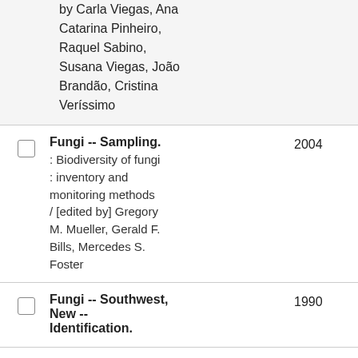by Carla Viegas, Ana Catarina Pinheiro, Raquel Sabino, Susana Viegas, João Brandão, Cristina Veríssimo
Fungi -- Sampling. : Biodiversity of fungi : inventory and monitoring methods / [edited by] Gregory M. Mueller, Gerald F. Bills, Mercedes S. Foster — 2004
Fungi -- Southwest, New -- Identification. — 1990